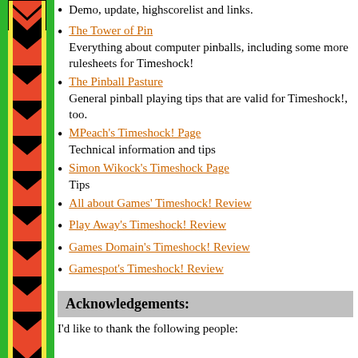[Figure (illustration): Decorative sidebar with repeating chevron/arrow pattern in red, green, yellow and black on left side of page]
Demo, update, highscorelist and links.
The Tower of Pin - Everything about computer pinballs, including some more rulesheets for Timeshock!
The Pinball Pasture - General pinball playing tips that are valid for Timeshock!, too.
MPeach's Timeshock! Page - Technical information and tips
Simon Wikock's Timeshock Page - Tips
All about Games' Timeshock! Review
Play Away's Timeshock! Review
Games Domain's Timeshock! Review
Gamespot's Timeshock! Review
Acknowledgements:
I'd like to thank the following people: